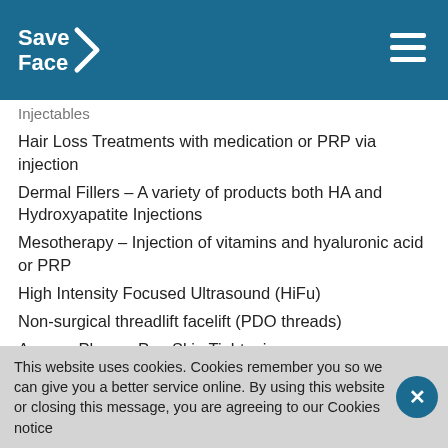Save Face
Injectables
Hair Loss Treatments with medication or PRP via injection
Dermal Fillers – A variety of products both HA and Hydroxyapatite Injections
Mesotherapy – Injection of vitamins and hyaluronic acid or PRP
High Intensity Focused Ultrasound (HiFu)
Non-surgical threadlift facelift (PDO threads)
Accor – Plasma Pen Skin Tightening
Chemical Peels and Photodynamic Therapy
Skincare – Bespoke skincare protocols
Dr. Lana is one of a few practicioners trained to
This website uses cookies. Cookies remember you so we can give you a better service online. By using this website or closing this message, you are agreeing to our Cookies notice